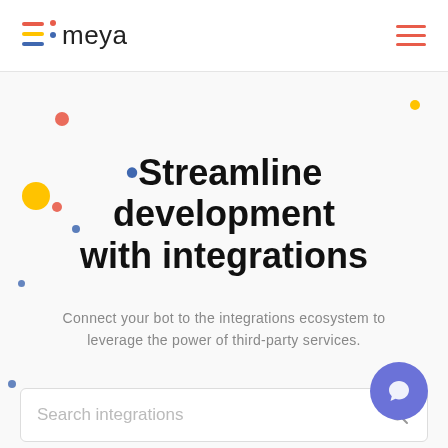meya
•Streamline development with integrations
Connect your bot to the integrations ecosystem to leverage the power of third-party services.
Search integrations